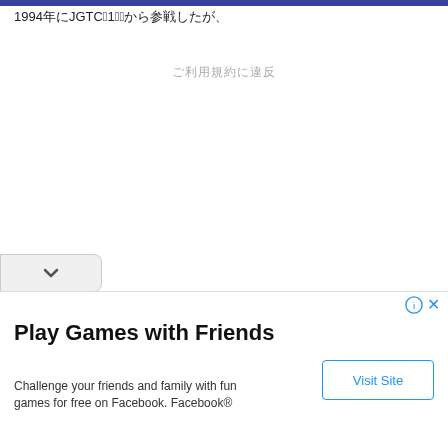1994年にJGTCの1戦目から参戦したが、
ご利用規約に違反
∨
Play Games with Friends
Challenge your friends and family with fun games for free on Facebook. Facebook®
Visit Site